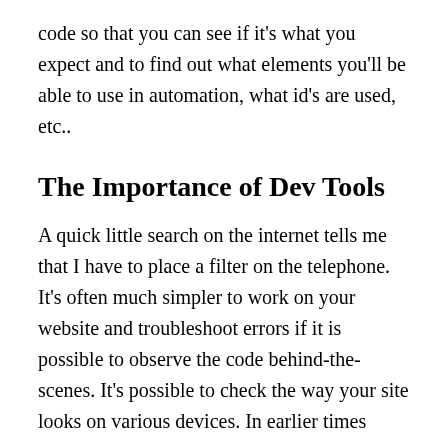code so that you can see if it's what you expect and to find out what elements you'll be able to use in automation, what id's are used, etc..
The Importance of Dev Tools
A quick little search on the internet tells me that I have to place a filter on the telephone. It's often much simpler to work on your website and troubleshoot errors if it is possible to observe the code behind-the-scenes. It's possible to check the way your site looks on various devices. In earlier times